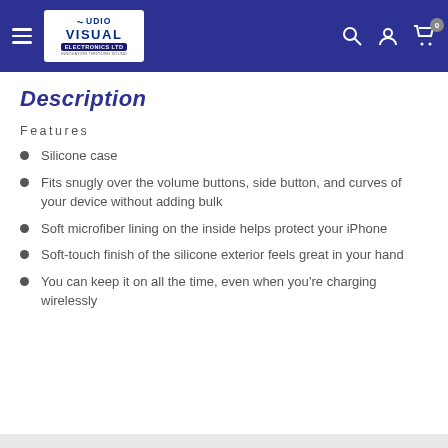Audio Visual Electronics Ltd - Navigation header
Description
Features
Silicone case
Fits snugly over the volume buttons, side button, and curves of your device without adding bulk
Soft microfiber lining on the inside helps protect your iPhone
Soft-touch finish of the silicone exterior feels great in your hand
You can keep it on all the time, even when you’re charging wirelessly